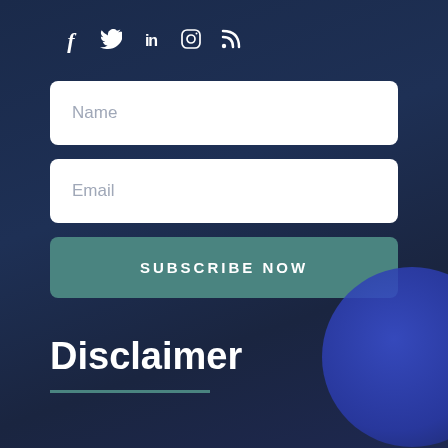[Figure (other): Social media icons row: Facebook (f), Twitter (bird), LinkedIn (in), Instagram (camera), RSS feed (wifi symbol)]
Name
Email
SUBSCRIBE NOW
Disclaimer